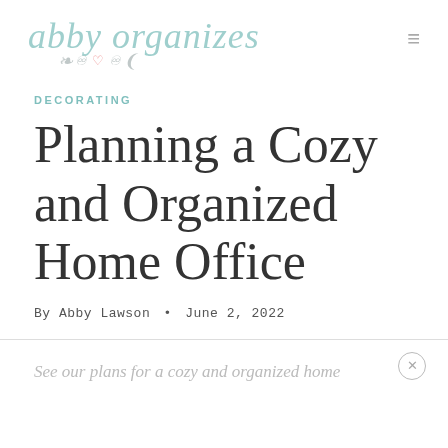abby organizes
DECORATING
Planning a Cozy and Organized Home Office
By Abby Lawson • June 2, 2022
See our plans for a cozy and organized home